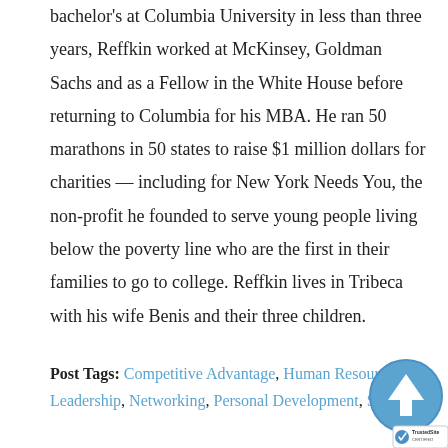bachelor's at Columbia University in less than three years, Reffkin worked at McKinsey, Goldman Sachs and as a Fellow in the White House before returning to Columbia for his MBA. He ran 50 marathons in 50 states to raise $1 million dollars for charities — including for New York Needs You, the non-profit he founded to serve young people living below the poverty line who are the first in their families to go to college. Reffkin lives in Tribeca with his wife Benis and their three children.
Post Tags: Competitive Advantage, Human Resources, Leadership, Networking, Personal Development, Sales, ...